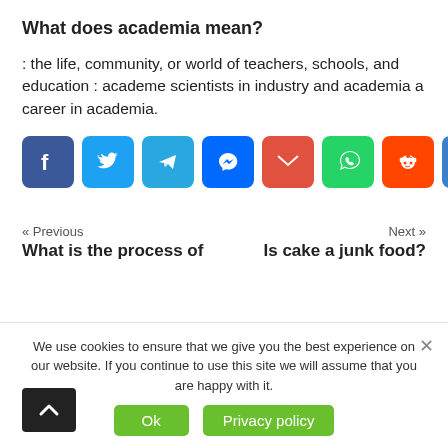What does academia mean?
: the life, community, or world of teachers, schools, and education : academe scientists in industry and academia a career in academia.
[Figure (infographic): Social share buttons row: Facebook (blue), Twitter (blue), Telegram (blue), Messenger (blue), Gmail (red), WhatsApp (green), Reddit (orange-red), Share/Add (blue)]
« Previous
What is the process of
Next »
Is cake a junk food?
We use cookies to ensure that we give you the best experience on our website. If you continue to use this site we will assume that you are happy with it.